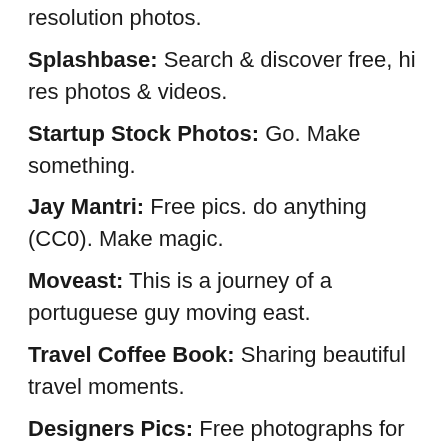resolution photos.
Splashbase: Search & discover free, hi res photos & videos.
Startup Stock Photos: Go. Make something.
Jay Mantri: Free pics. do anything (CC0). Make magic.
Moveast: This is a journey of a portuguese guy moving east.
Travel Coffee Book: Sharing beautiful travel moments.
Designers Pics: Free photographs for your personal & commercial use.
Death to the Stock Photo: Free photos sent